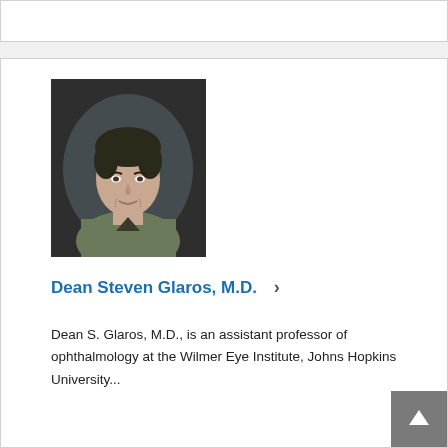[Figure (photo): Headshot photo of Dean Steven Glaros, M.D., a man with dark hair wearing a greenish shirt, set against a dark background.]
Dean Steven Glaros, M.D.  ›
Dean S. Glaros, M.D., is an assistant professor of ophthalmology at the Wilmer Eye Institute, Johns Hopkins University...